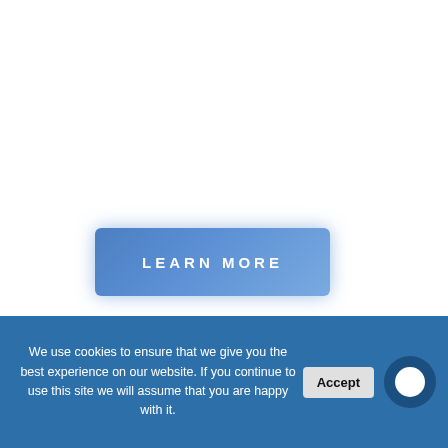[Figure (other): Blue gradient 'LEARN MORE' call-to-action button with glow effect]
Digital Marketing
That brings audience with great ROI
We have expert researcher, looking for ways to
[Figure (other): Grey scroll-to-top button with upward chevron arrow]
We use cookies to ensure that we give you the best experience on our website. If you continue to use this site we will assume that you are happy with it.
[Figure (other): Accept button and chat bubble icon in cookie consent banner]